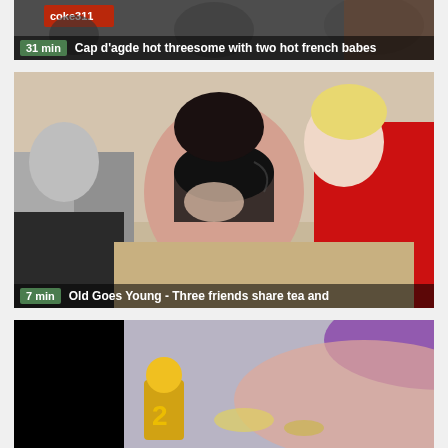[Figure (screenshot): Video thumbnail for '31 min | Cap d'agde hot threesome with two hot french babes']
[Figure (screenshot): Video thumbnail for '7 min | Old Goes Young - Three friends share tea and']
[Figure (screenshot): Video thumbnail showing animated/colorful imagery, third video card, partially visible]